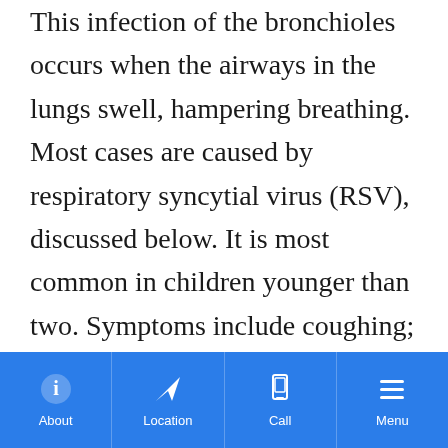This infection of the bronchioles occurs when the airways in the lungs swell, hampering breathing. Most cases are caused by respiratory syncytial virus (RSV), discussed below. It is most common in children younger than two. Symptoms include coughing; rapid, shallow breathing; wheezing; skin retractions around the neck and chest; flaring of the nostrils and fever.

Usually, bronchiolitis runs its course in 7-10 days and does not require medical treatment.
About | Location | Call | Menu